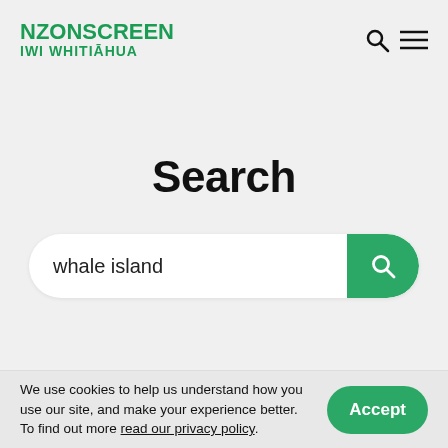NZONSCREEN IWI WHITIĀHUA
Search
whale island
We use cookies to help us understand how you use our site, and make your experience better. To find out more read our privacy policy.